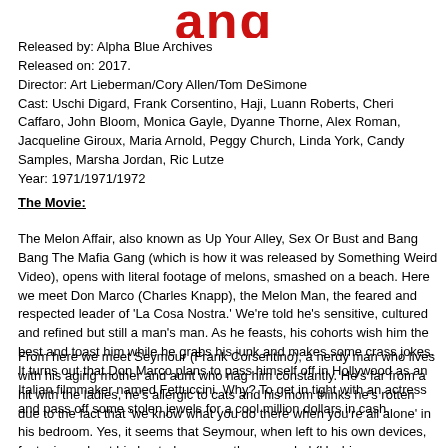[Figure (logo): Partially visible red stylized logo text at top of page, cropped]
Released by: Alpha Blue Archives
Released on: 2017.
Director: Art Lieberman/Cory Allen/Tom DeSimone
Cast: Uschi Digard, Frank Corsentino, Haji, Luann Roberts, Cheri Caffaro, John Bloom, Monica Gayle, Dyanne Thorne, Alex Roman, Jacqueline Giroux, Maria Arnold, Peggy Church, Linda York, Candy Samples, Marsha Jordan, Ric Lutze
Year: 1971/1971/1972
The Movie:
The Melon Affair, also known as Up Your Alley, Sex Or Bust and Bang Bang The Mafia Gang (which is how it was released by Something Weird Video), opens with literal footage of melons, smashed on a beach. Here we meet Don Marco (Charles Knapp), the Melon Man, the feared and respected leader of 'La Cosa Nostra.' We're told he's sensitive, cultured and refined but still a man's man. As he feasts, his cohorts wish him the best and toast him while he grabs his junk and makes some crass jokes. It turns out that Don Marco plans to pass himself off in Hollywood as an Italian filmmaker named Fettuccini. Why? To get in tight with an actress and pass off some stolen jewels for a cool million dollars in cash.
From here we meet Seymour (Frank Corsentino), a nerdy man who lives with his aging mother and aunt who nag him constantly. He's far from a hit with the ladies, he's allergic to cats and his mom thinks he's rotten due to the fact that 'we know what you do there when you're all alone' in his bedroom. Yes, it seems that Seymour, when left to his own devices, fantasizes about big busted women - the scoundrel (Uschi appears as the nurse in his fantasies)! It turns out that Seymour's uncle gets him a job working for his catering company, Crown Caterers. And what could their latest gig possibly be? Well, they're to cater an